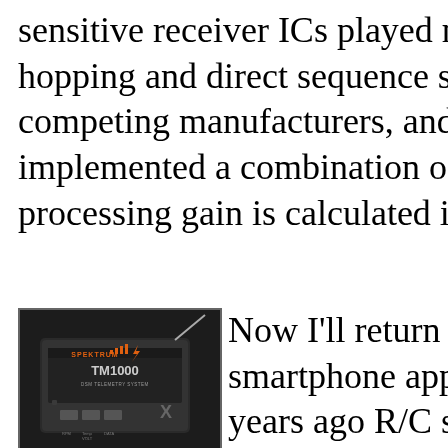sensitive receiver ICs played no small hopping and direct sequence spread sp competing manufacturers, and a coup implemented a combination of both; I processing gain is calculated in the fo
[Figure (photo): Photo of a Spektrum TM1000 DSM Telemetry System device, a small black electronic module with an antenna wire, showing the brand name SPEKTRUM and model TM1000 DSM TELEMETRY SYSTEM on its label.]
Now I'll return to the te smartphone app part of years ago R/C system m offering receivers and